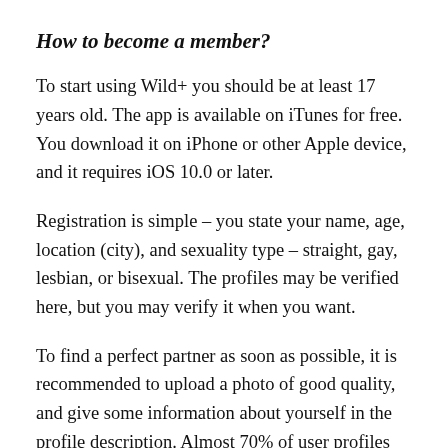How to become a member?
To start using Wild+ you should be at least 17 years old. The app is available on iTunes for free. You download it on iPhone or other Apple device, and it requires iOS 10.0 or later.
Registration is simple – you state your name, age, location (city), and sexuality type – straight, gay, lesbian, or bisexual. The profiles may be verified here, but you may verify it when you want.
To find a perfect partner as soon as possible, it is recommended to upload a photo of good quality, and give some information about yourself in the profile description. Almost 70% of user profiles are